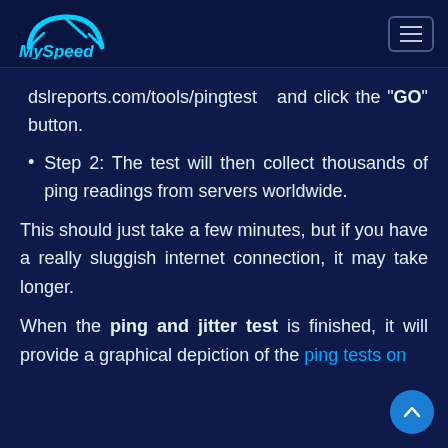MySpeed [logo] [hamburger menu]
dslreports.com/tools/pingtest    and click the "GO" button.
Step 2: The test will then collect thousands of ping readings from servers worldwide.
This should just take a few minutes, but if you have a really sluggish internet connection, it may take longer.
When the ping and jitter test is finished, it will provide a graphical depiction of the ping tests on